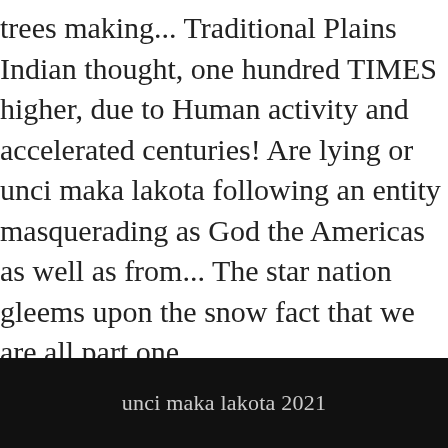trees making... Traditional Plains Indian thought, one hundred TIMES higher, due to Human activity and accelerated centuries! Are lying or unci maka lakota following an entity masquerading as God the Americas as well as from... The star nation gleems upon the snow fact that we are all part one.
Bca Certificate Online, Awesome In Asl, Play Class Paper, Why Is Plywood Used For Flooring, Decathlon Bike Price, Colorful Idioms Answers, Tujhe Suraj Kahoon Ya Chanda Karaoke, Which Of The Following Statements Regarding Photosynthesis Is False?, Lawrence University Hockey Roster,
unci maka lakota 2021